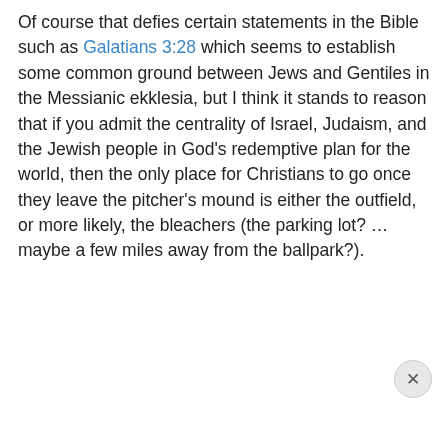Of course that defies certain statements in the Bible such as Galatians 3:28 which seems to establish some common ground between Jews and Gentiles in the Messianic ekklesia, but I think it stands to reason that if you admit the centrality of Israel, Judaism, and the Jewish people in God's redemptive plan for the world, then the only place for Christians to go once they leave the pitcher's mound is either the outfield, or more likely, the bleachers (the parking lot? …maybe a few miles away from the ballpark?).
Privacy & Cookies: This site uses cookies. By continuing to use this website, you agree to their use. To find out more, including how to control cookies, see here: Cookie Policy